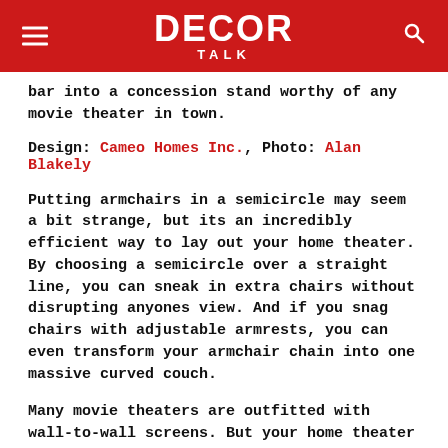DECOR TALK
bar into a concession stand worthy of any movie theater in town.
Design: Cameo Homes Inc., Photo: Alan Blakely
Putting armchairs in a semicircle may seem a bit strange, but its an incredibly efficient way to lay out your home theater. By choosing a semicircle over a straight line, you can sneak in extra chairs without disrupting anyones view. And if you snag chairs with adjustable armrests, you can even transform your armchair chain into one massive curved couch.
Many movie theaters are outfitted with wall-to-wall screens. But your home theater may not need a TV quite that big, so if you opt for a smaller alternative, look for ways to fill the space around your TV.
Could you paint your walls a dark color, or frame your screen with matching sconces? Since your goal is to draw attention to your TV and not